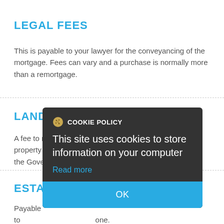LEGAL FEES
This is payable to your lawyer for the conveyancing of the mortgage. Fees can vary and a purchase is normally more than a remortgage.
LAND REGISTRY
A fee to register your property ownership with the Government.
ESTATE
Payable to one. Typically this is a percentage of the final sale price.
[Figure (screenshot): Cookie policy modal dialog overlay with dark background, title 'COOKIE POLICY', body text 'This site uses cookies to store information on your computer', a 'Read more' link in blue, and a blue 'OK' button at the bottom.]